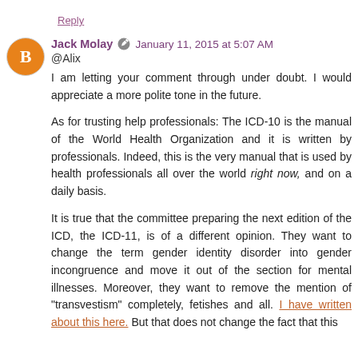Reply
Jack Molay · January 11, 2015 at 5:07 AM
@Alix
I am letting your comment through under doubt. I would appreciate a more polite tone in the future.
As for trusting help professionals: The ICD-10 is the manual of the World Health Organization and it is written by professionals. Indeed, this is the very manual that is used by health professionals all over the world right now, and on a daily basis.
It is true that the committee preparing the next edition of the ICD, the ICD-11, is of a different opinion. They want to change the term gender identity disorder into gender incongruence and move it out of the section for mental illnesses. Moreover, they want to remove the mention of "transvestism" completely, fetishes and all. I have written about this here. But that does not change the fact that this